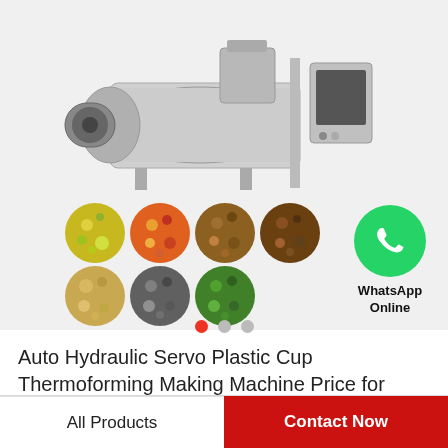[Figure (photo): Industrial food extrusion machine (stainless steel) with a control panel on the right, shown alongside seven circular images of various pet food and snack pellets in different colors and shapes. A WhatsApp Online icon (green speech bubble with phone) appears to the right.]
Auto Hydraulic Servo Plastic Cup Thermoforming Making Machine Price for PP,...
All Products
Contact Now